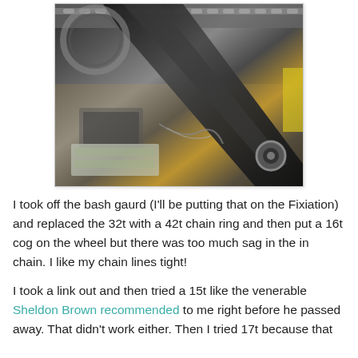[Figure (photo): Close-up photo of a bicycle crankarm and chainring area, with tools and workshop items visible in the background. The dark crankarm is prominent in the center of the frame.]
I took off the bash gaurd (I'll be putting that on the Fixiation) and replaced the 32t with a 42t chain ring and then put a 16t cog on the wheel but there was too much sag in the in chain. I like my chain lines tight!
I took a link out and then tried a 15t like the venerable Sheldon Brown recommended to me right before he passed away. That didn't work either. Then I tried 17t because that